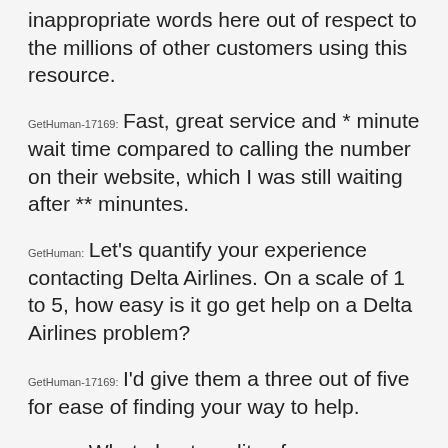inappropriate words here out of respect to the millions of other customers using this resource.
GetHuman-17169: Fast, great service and * minute wait time compared to calling the number on their website, which I was still waiting after ** minuntes.
GetHuman: Let's quantify your experience contacting Delta Airlines. On a scale of 1 to 5, how easy is it go get help on a Delta Airlines problem?
GetHuman-17169: I'd give them a three out of five for ease of finding your way to help.
GetHuman: What about quality of communication. How would you rate that on a 1 to 5 scale?
GetHuman-17169: I'd give them a five out of five on communication.
GetHuman: And what about Delta Airlines's ability to quickly and effectively address your problem?